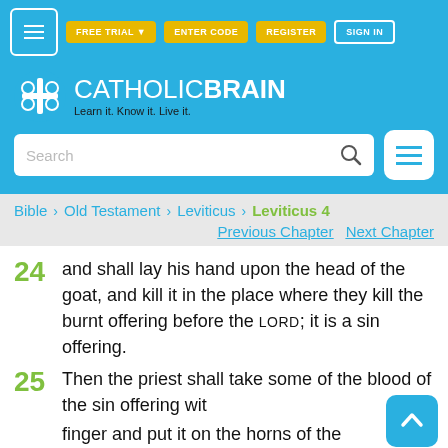[Figure (screenshot): CatholicBrain website header with navigation buttons (FREE TRIAL, ENTER CODE, REGISTER, SIGN IN), logo with brain icon, tagline 'Learn it. Know it. Live it.', and search bar]
Bible > Old Testament > Leviticus > Leviticus 4
Previous Chapter   Next Chapter
24 and shall lay his hand upon the head of the goat, and kill it in the place where they kill the burnt offering before the LORD; it is a sin offering.
25 Then the priest shall take some of the blood of the sin offering with his finger and put it on the horns of the